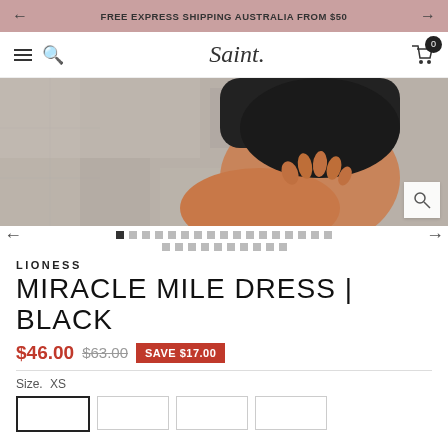FREE EXPRESS SHIPPING AUSTRALIA FROM $50
Saint.
[Figure (photo): Close-up product photo showing a model wearing a black dress, partial view of torso and thigh against a grey stone background.]
LIONESS
MIRACLE MILE DRESS | BLACK
$46.00  $63.00  SAVE $17.00
Size.  XS